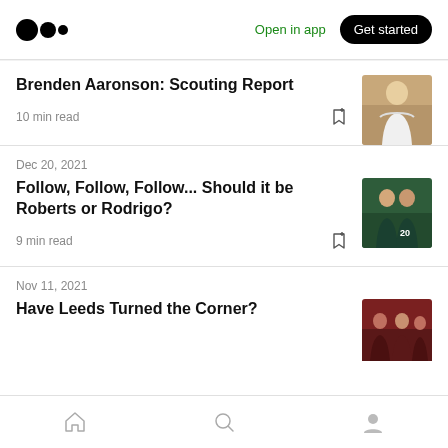Medium logo | Open in app | Get started
Brenden Aaronson: Scouting Report
10 min read
Dec 20, 2021
Follow, Follow, Follow... Should it be Roberts or Rodrigo?
9 min read
Nov 11, 2021
Have Leeds Turned the Corner?
Home | Search | Profile